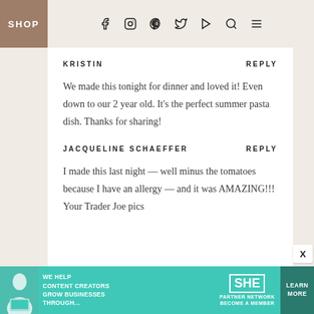SHOP
KRISTIN
REPLY
We made this tonight for dinner and loved it! Even down to our 2 year old. It's the perfect summer pasta dish. Thanks for sharing!
JACQUELINE SCHAEFFER
REPLY
I made this last night — well minus the tomatoes because I have an allergy — and it was AMAZING!!! Your Trader Joe pics
[Figure (photo): Advertisement banner for SHE Media partner network showing a woman with laptop, text reading WE HELP CONTENT CREATORS GROW BUSINESSES THROUGH..., SHE PARTNER NETWORK BECOME A MEMBER, and a LEARN MORE button]